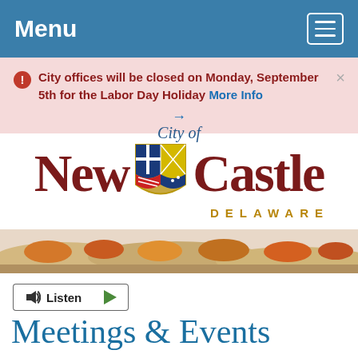Menu
City offices will be closed on Monday, September 5th for the Labor Day Holiday More Info →
[Figure (logo): City of New Castle Delaware official city seal/logo with shield emblem]
[Figure (photo): Landscape photo strip showing autumn foliage and rolling hills]
Listen
Meetings & Events